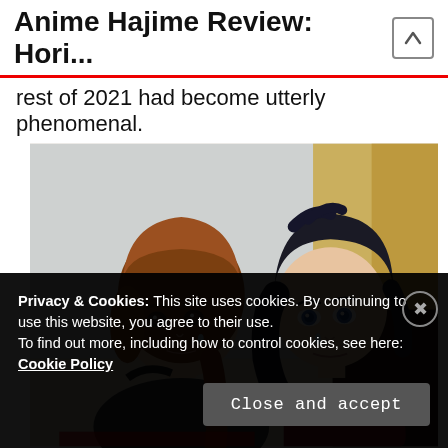Anime Hajime Review: Hori...
rest of 2021 had become utterly phenomenal.
[Figure (illustration): Two anime characters facing each other: a girl with brown hair on the left and a boy with black hair wearing a dark red/maroon top on the right, appearing emotional with tears.]
Privacy & Cookies: This site uses cookies. By continuing to use this website, you agree to their use.
To find out more, including how to control cookies, see here: Cookie Policy